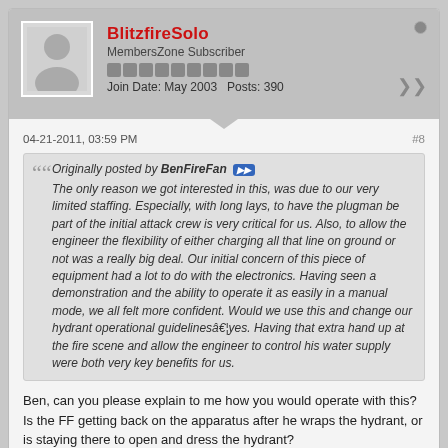BlitzfireSolo
MembersZone Subscriber
Join Date: May 2003   Posts: 390
04-21-2011, 03:59 PM
#8
Originally posted by BenFireFan
The only reason we got interested in this, was due to our very limited staffing. Especially, with long lays, to have the plugman be part of the initial attack crew is very critical for us. Also, to allow the engineer the flexibility of either charging all that line on ground or not was a really big deal. Our initial concern of this piece of equipment had a lot to do with the electronics. Having seen a demonstration and the ability to operate it as easily in a manual mode, we all felt more confident. Would we use this and change our hydrant operational guidelinesâ€¦yes. Having that extra hand up at the fire scene and allow the engineer to control his water supply were both very key benefits for us.
Ben, can you please explain to me how you would operate with this? Is the FF getting back on the apparatus after he wraps the hydrant, or is staying there to open and dress the hydrant?